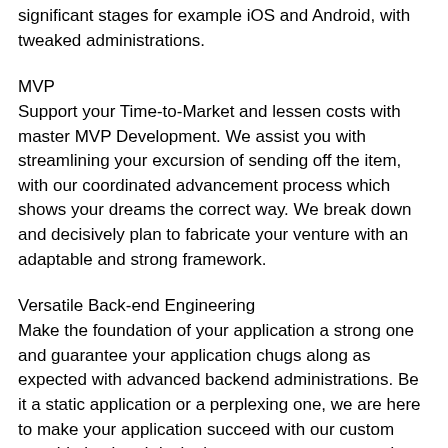significant stages for example iOS and Android, with tweaked administrations.
MVP
Support your Time-to-Market and lessen costs with master MVP Development. We assist you with streamlining your excursion of sending off the item, with our coordinated advancement process which shows your dreams the correct way. We break down and decisively plan to fabricate your venture with an adaptable and strong framework.
Versatile Back-end Engineering
Make the foundation of your application a strong one and guarantee your application chugs along as expected with advanced backend administrations. Be it a static application or a perplexing one, we are here to make your application succeed with our custom portable backend designing, to store, process and oversee information consistently.